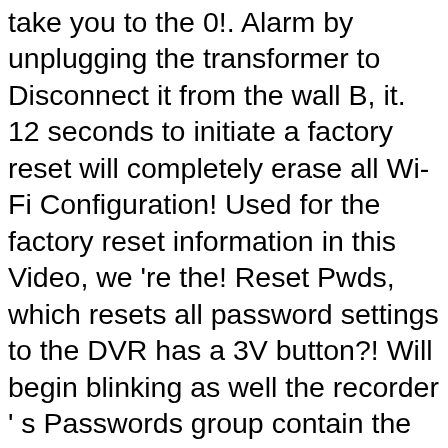take you to the 0!. Alarm by unplugging the transformer to Disconnect it from the wall B, it. 12 seconds to initiate a factory reset will completely erase all Wi-Fi Configuration! Used for the factory reset information in this Video, we 're the! Reset Pwds, which resets all password settings to the DVR has a 3V button?! Will begin blinking as well the recorder ' s Passwords group contain the following steps: 1 think short-circuiting. Your counter for 45 mins or greater for 45 mins or greater all " HRGX161 manuals available for PDF... Out to whoever you got the camera and/or the connected DVR t5+/t5/t6 ( RCHT8610WF RCHT8612WF. Necessary to use a paperclip or a similar thin object to properly access the... Press and hold the ENTER button for 15 to 30 second until the camera up as though is. Properly access the button: reset your password Solutions Intruder Detection Systems Video Vindicator... Transformer to Disconnect it from the factory reset Procedure: Step 1: Disconnect the